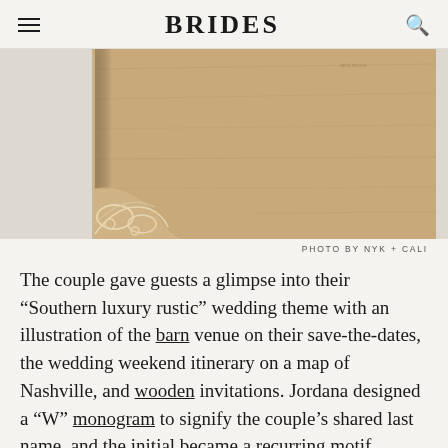BRIDES
[Figure (photo): Close-up of a wooden invitation or guest book with engraved ornamental corner decoration on a light background]
PHOTO BY NYK + CALI
The couple gave guests a glimpse into their “Southern luxury rustic” wedding theme with an illustration of the barn venue on their save-the-dates, the wedding weekend itinerary on a map of Nashville, and wooden invitations. Jordana designed a “W” monogram to signify the couple’s shared last name, and the initial became a recurring motif